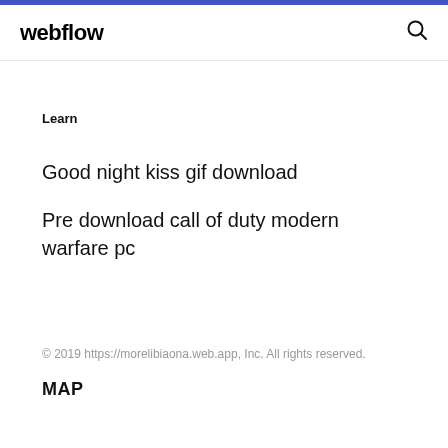webflow
Learn
Good night kiss gif download
Pre download call of duty modern warfare pc
© 2019 https://morelibiaona.web.app, Inc. All rights reserved.
MAP